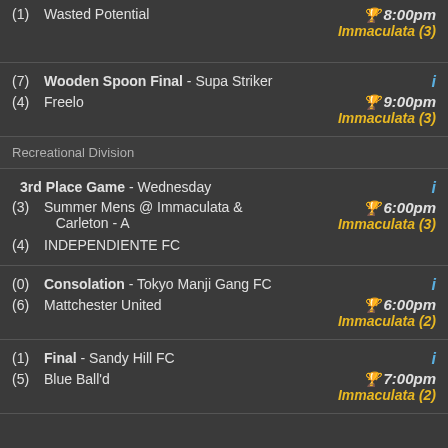(1) Wasted Potential | 8:00pm Immaculata (3)
(7) Wooden Spoon Final - Supa Striker | (4) Freelo | 9:00pm Immaculata (3)
Recreational Division
(3) 3rd Place Game - Wednesday Summer Mens @ Immaculata & Carleton - A | (4) INDEPENDIENTE FC | 6:00pm Immaculata (3)
(0) Consolation - Tokyo Manji Gang FC | (6) Mattchester United | 6:00pm Immaculata (2)
(1) Final - Sandy Hill FC | (5) Blue Ball'd | 7:00pm Immaculata (2)